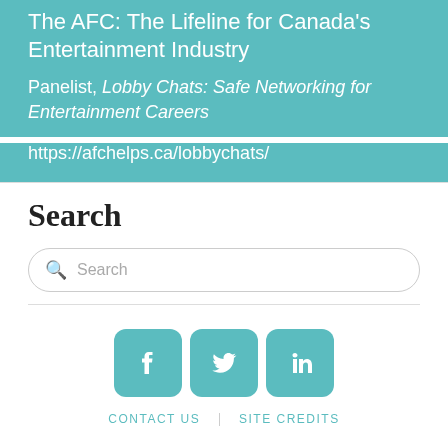The AFC: The Lifeline for Canada's Entertainment Industry
Panelist, Lobby Chats: Safe Networking for Entertainment Careers
https://afchelps.ca/lobbychats/
Search
Search
[Figure (other): Social media icons for Facebook, Twitter, and LinkedIn in teal rounded square buttons]
CONTACT US   SITE CREDITS